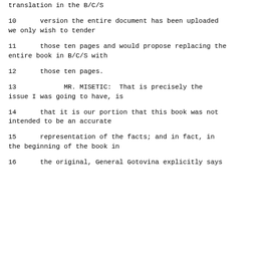translation in the B/C/S
10      version the entire document has been uploaded we only wish to tender
11      those ten pages and would propose replacing the entire book in B/C/S with
12      those ten pages.
13              MR. MISETIC:  That is precisely the issue I was going to have, is
14      that it is our portion that this book was not intended to be an accurate
15      representation of the facts; and in fact, in the beginning of the book in
16      the original, General Gotovina explicitly says